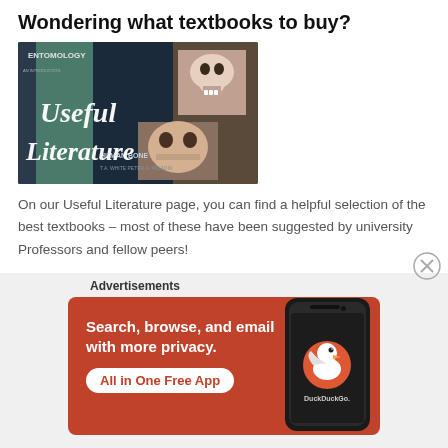Wondering what textbooks to buy?
[Figure (illustration): Collage image of various textbooks with overlaid italic white serif text reading 'Useful Literature'. Books include one labeled ENTOMOLOGY and another labeled HUMAN BONE, with skulls visible on covers.]
On our Useful Literature page, you can find a helpful selection of the best textbooks – most of these have been suggested by university Professors and fellow peers!
[Figure (infographic): DuckDuckGo advertisement banner with orange/red background. White bold text reads 'Search, browse, and email with more privacy.' with a white pill-shaped button in red text 'All in One Free App'. Right side shows a dark smartphone with DuckDuckGo duck logo and 'DuckDuckGo.' text.]